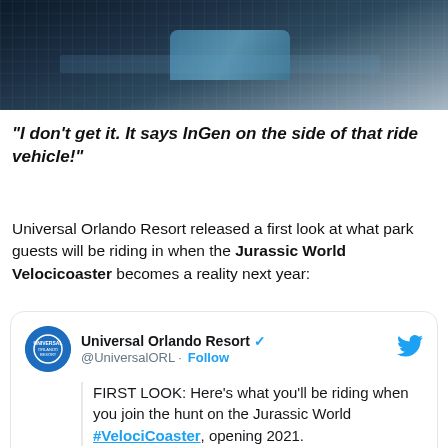[Figure (photo): Dark photo of a roller coaster ride vehicle with blue accents and metallic track/grid texture, showing InGen branding]
“I don’t get it. It says InGen on the side of that ride vehicle!”
Universal Orlando Resort released a first look at what park guests will be riding in when the Jurassic World Velocicoaster becomes a reality next year:
[Figure (screenshot): Screenshot of a tweet from Universal Orlando Resort (@UniversalORL) with a Follow button and Twitter bird icon. Tweet text reads: FIRST LOOK: Here's what you'll be riding when you join the hunt on the Jurassic World #VelociCoaster, opening 2021. With a dark image preview below.]